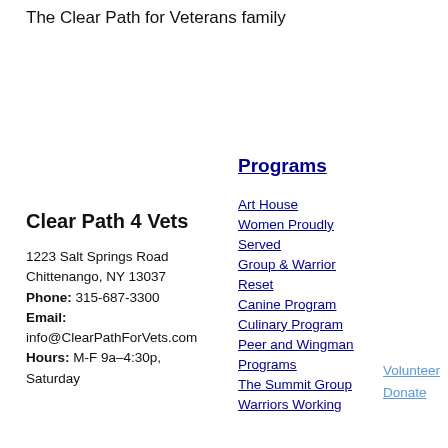The Clear Path for Veterans family
Clear Path 4 Vets
1223 Salt Springs Road
Chittenango, NY 13037
Phone: 315-687-3300
Email: info@ClearPathForVets.com
Hours: M-F 9a–4:30p, Saturday
Programs
Art House
Women Proudly Served
Group & Warrior Reset
Canine Program
Culinary Program
Peer and Wingman Programs
The Summit Group
Warriors Working
Volunteer
Donate